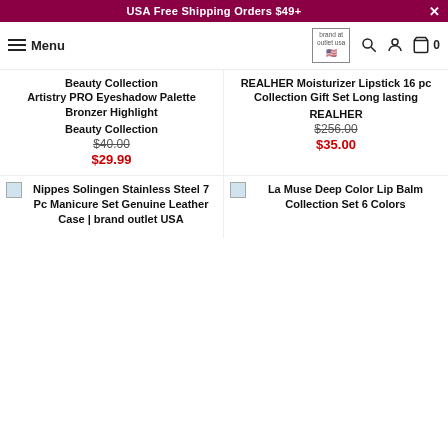USA Free Shipping Orders $49+
Menu
Beauty Collection Artistry PRO Eyeshadow Palette Bronzer Highlight
Beauty Collection
$40.00
$29.99
REALHER Moisturizer Lipstick 16 pc Collection Gift Set Long lasting
REALHER
$256.00
$35.00
[Figure (screenshot): Broken image placeholder for Nippes Solingen product]
Nippes Solingen Stainless Steel 7 Pc Manicure Set Genuine Leather Case | brand outlet USA
[Figure (screenshot): Broken image placeholder for La Muse product]
La Muse Deep Color Lip Balm Collection Set 6 Colors